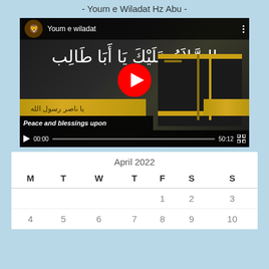- Youm e Wiladat Hz Abu -
[Figure (screenshot): YouTube video player showing 'Youm e wiladat' with Arabic calligraphy text over an image of the Kaaba. Controls show 00:00 / 50:12. A large red play button is visible in the center. A gold banner with Arabic text and a subtitle 'Peace and blessings upon' are shown.]
| M | T | W | T | F | S | S |
| --- | --- | --- | --- | --- | --- | --- |
|  |  |  |  | 1 | 2 | 3 |
| 4 | 5 | 6 | 7 | 8 | 9 | 10 |